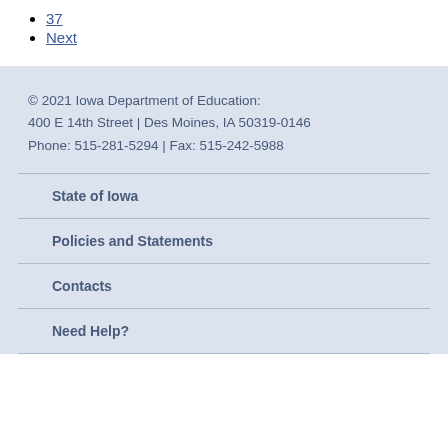37
Next
© 2021 Iowa Department of Education:
400 E 14th Street | Des Moines, IA 50319-0146
Phone: 515-281-5294 | Fax: 515-242-5988
State of Iowa
Policies and Statements
Contacts
Need Help?